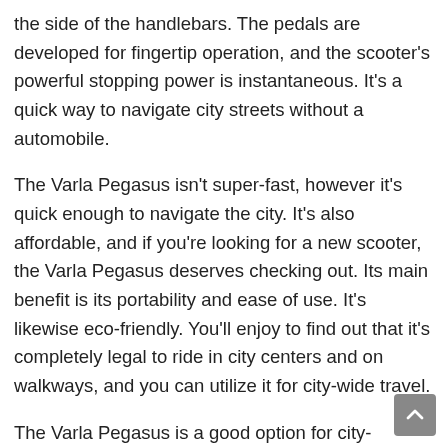the side of the handlebars. The pedals are developed for fingertip operation, and the scooter's powerful stopping power is instantaneous. It's a quick way to navigate city streets without a automobile.
The Varla Pegasus isn't super-fast, however it's quick enough to navigate the city. It's also affordable, and if you're looking for a new scooter, the Varla Pegasus deserves checking out. Its main benefit is its portability and ease of use. It's likewise eco-friendly. You'll enjoy to find out that it's completely legal to ride in city centers and on walkways, and you can utilize it for city-wide travel.
The Varla Pegasus is a good option for city-dwelling commuters. Its self-locking system makes it easy to shop transportation. It likewise has a thumb throttle. The battery life